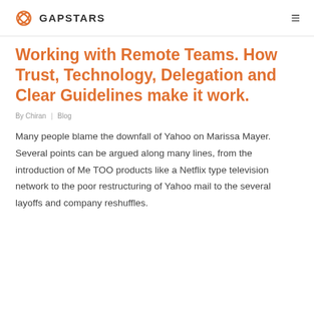GAPSTARS
Working with Remote Teams. How Trust, Technology, Delegation and Clear Guidelines make it work.
By Chiran | Blog
Many people blame the downfall of Yahoo on Marissa Mayer. Several points can be argued along many lines, from the introduction of Me TOO products like a Netflix type television network to the poor restructuring of Yahoo mail to the several layoffs and company reshuffles.